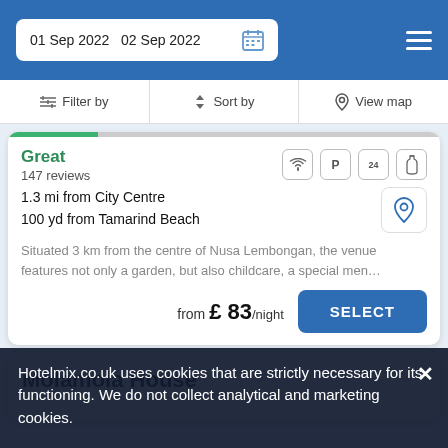01 Sep 2022  02 Sep 2022
Filter by  Sort by  View map
Great
147 reviews
1.3 mi from City Centre
100 yd from Tamarind Beach
Situated 3 km from the centre of Nusa Lembongan, the venue features not only a garden, but also childcare, a special men…
from £ 83/night
SELECT
Molamola House
Hotelmix.co.uk uses cookies that are strictly necessary for its functioning. We do not collect analytical and marketing cookies.